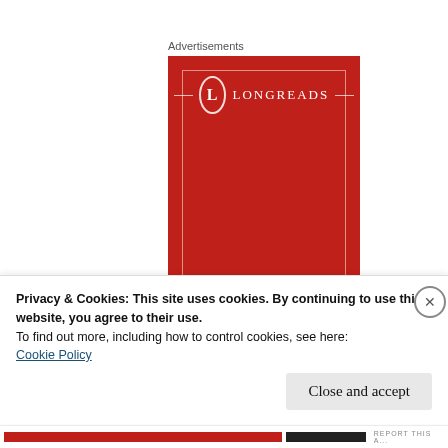Advertisements
[Figure (logo): Longreads advertisement banner. Red background with white Longreads logo (circle with L) and 'The best' text in italic at bottom.]
Privacy & Cookies: This site uses cookies. By continuing to use this website, you agree to their use.
To find out more, including how to control cookies, see here:
Cookie Policy
Close and accept